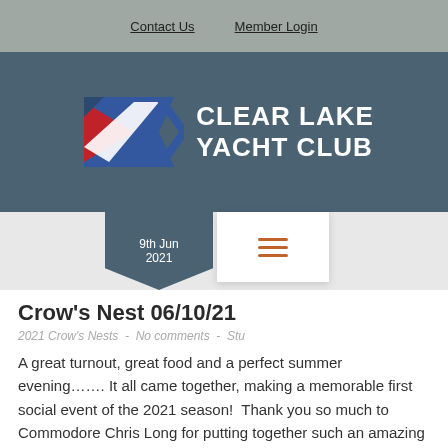Contact Us   Member Login
[Figure (logo): Clear Lake Yacht Club logo with red, white and blue pennant/flag shape on left and white text 'CLEAR LAKE YACHT CLUB' on right, on dark teal background]
9th Jun 2021
Crow's Nest 06/10/21
2021 Crow's Nests  -  No comments  -  Stu
A great turnout, great food and a perfect summer evening……. It all came together, making a memorable first social event of the 2021 season!  Thank you so much to Commodore Chris Long for putting together such an amazing event and Vice